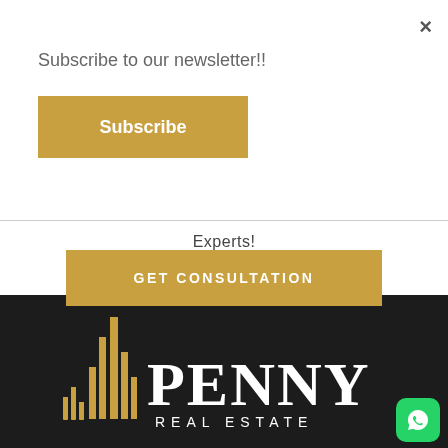×
Subscribe to our newsletter!!
Subscribe
Experts!
GET CONSULTATION
[Figure (logo): Penny Real Estate logo with gold building silhouette bars and white serif text on dark background]
[Figure (other): WhatsApp green button icon in bottom right corner]